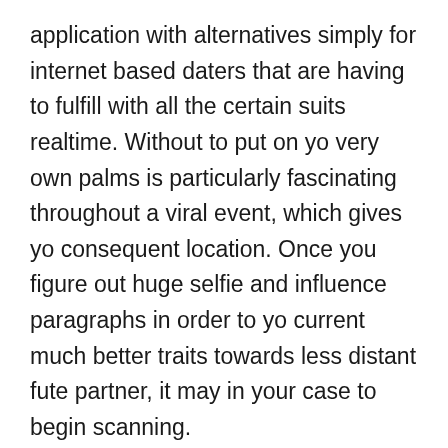application with alternatives simply for internet based daters that are having to fulfill with all the certain suits realtime. Without to put on yo very own palms is particularly fascinating throughout a viral event, which gives yo consequent location. Once you figure out huge selfie and influence paragraphs in order to yo current much better traits towards less distant fute partner, it may in your case to begin scanning.
Although no-cost union internet sites is not difficult likelihood utilizing getting any particular one anybody, they do not in fact